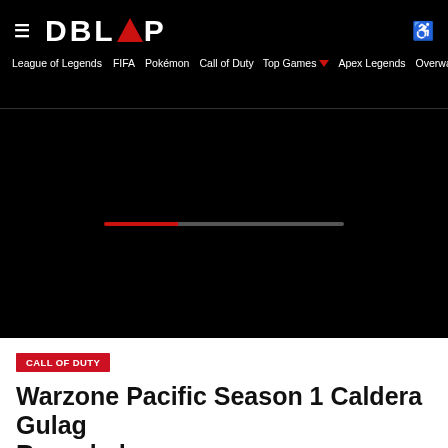DBLTAP — Navigation: League of Legends, FIFA, Pokémon, Call of Duty, Top Games, Apex Legends, Overwatch
[Figure (screenshot): Black hero/video area with a loading progress bar (red filled portion on left, grey empty portion on right) centered in the frame]
Call of Duty
Warzone Pacific Season 1 Caldera Gulag Revealed